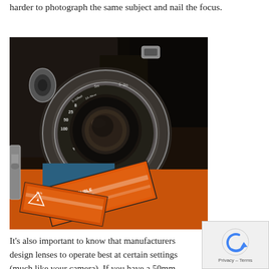harder to photograph the same subject and nail the focus.
[Figure (photo): Close-up photograph of a vintage folding camera lens with aperture and focus rings, alongside orange film box labels with triangle warning symbols]
It's also important to know that manufacturers design lenses to operate best at certain settings (much like your camera). If you have a 50mm